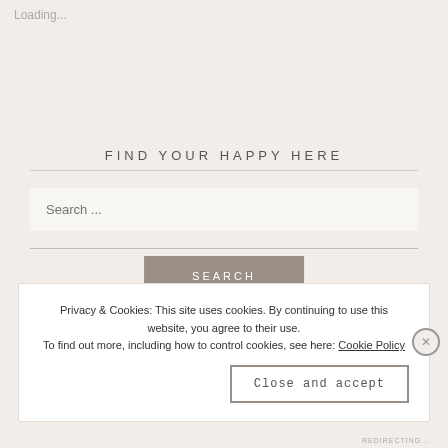Loading...
FIND YOUR HAPPY HERE
Search ...
SEARCH
Privacy & Cookies: This site uses cookies. By continuing to use this website, you agree to their use.
To find out more, including how to control cookies, see here: Cookie Policy
Close and accept
REDIRECTING...